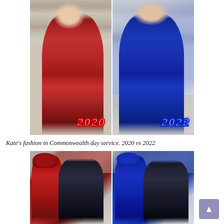[Figure (photo): Two side-by-side photos of Kate Middleton at Commonwealth Day Service. Left photo (2020): Kate wearing a long red coat dress, waving, with '2020' label in red outlined text at bottom right. Right photo (2022): Kate wearing a royal blue coat dress with '2022' label in blue outlined text at bottom right.]
Kate's fashion in Commonwealth day service. 2020 vs 2022
[Figure (photo): Two side-by-side photos of Kate and Prince William at Commonwealth Day Service. Left photo (2020): Kate in red coat with red fascinator hat and William in dark suit. Right photo (2022): Kate in royal blue coat with blue hat and William in dark suit.]